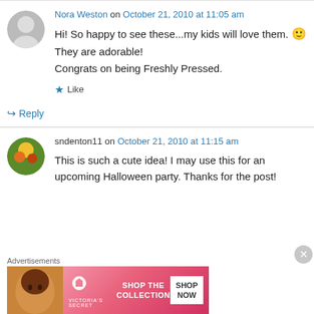Nora Weston on October 21, 2010 at 11:05 am
Hi! So happy to see these...my kids will love them. 🙂 They are adorable!
Congrats on being Freshly Pressed.
★ Like
↪ Reply
sndenton11 on October 21, 2010 at 11:15 am
This is such a cute idea! I may use this for an upcoming Halloween party. Thanks for the post!
Advertisements
[Figure (photo): Victoria's Secret advertisement banner with photo of woman and text SHOP THE COLLECTION / SHOP NOW]